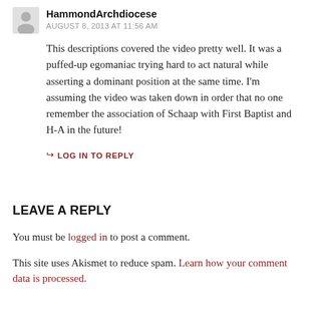HammondArchdiocese
AUGUST 8, 2013 AT 11:56 AM
This descriptions covered the video pretty well. It was a puffed-up egomaniac trying hard to act natural while asserting a dominant position at the same time. I'm assuming the video was taken down in order that no one remember the association of Schaap with First Baptist and H-A in the future!
LOG IN TO REPLY
LEAVE A REPLY
You must be logged in to post a comment.
This site uses Akismet to reduce spam. Learn how your comment data is processed.